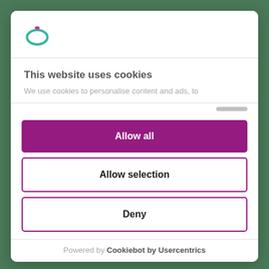[Figure (logo): Ring/jewelry logo icon — teal/green oval ring with small pink top accent]
This website uses cookies
We use cookies to personalise content and ads, to
Allow all
Allow selection
Deny
Powered by Cookiebot by Usercentrics